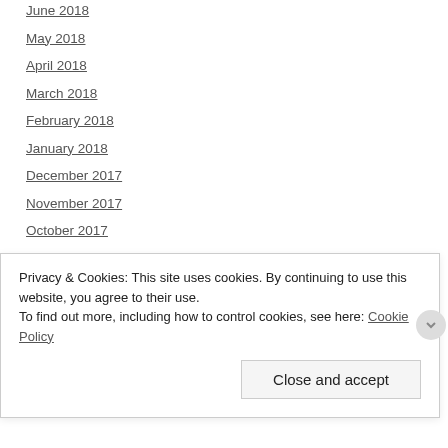June 2018
May 2018
April 2018
March 2018
February 2018
January 2018
December 2017
November 2017
October 2017
September 2017
August 2017
July 2017
Privacy & Cookies: This site uses cookies. By continuing to use this website, you agree to their use.
To find out more, including how to control cookies, see here: Cookie Policy
Close and accept